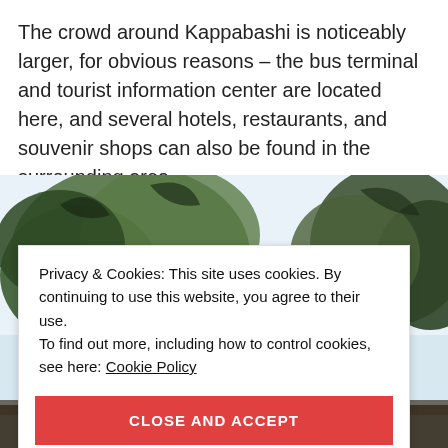The crowd around Kappabashi is noticeably larger, for obvious reasons – the bus terminal and tourist information center are located here, and several hotels, restaurants, and souvenir shops can also be found in the surrounding area.
[Figure (photo): Outdoor photo showing large trees with blue-green foliage against a pale sky, partially obscured by a cookie consent banner overlay.]
Privacy & Cookies: This site uses cookies. By continuing to use this website, you agree to their use.
To find out more, including how to control cookies, see here: Cookie Policy
CLOSE AND ACCEPT